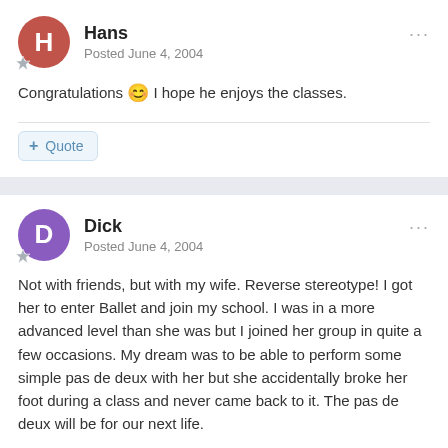Hans
Posted June 4, 2004
Congratulations 😊 I hope he enjoys the classes.
Quote
Dick
Posted June 4, 2004
Not with friends, but with my wife. Reverse stereotype! I got her to enter Ballet and join my school. I was in a more advanced level than she was but I joined her group in quite a few occasions. My dream was to be able to perform some simple pas de deux with her but she accidentally broke her foot during a class and never came back to it. The pas de deux will be for our next life.